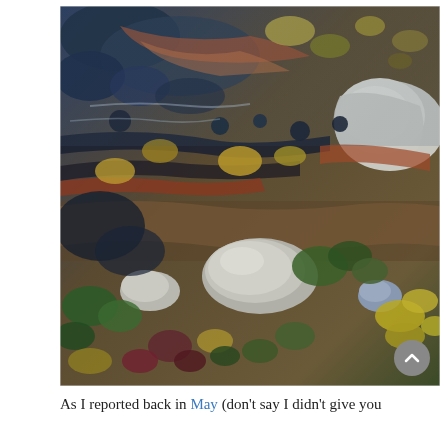[Figure (illustration): Close-up detail of an impressionist oil painting showing a rocky stream bed with colorful stones, pebbles, water reflections, and vegetation in blues, greens, yellows, reds, and earthy tones.]
As I reported back in May (don't say I didn't give you